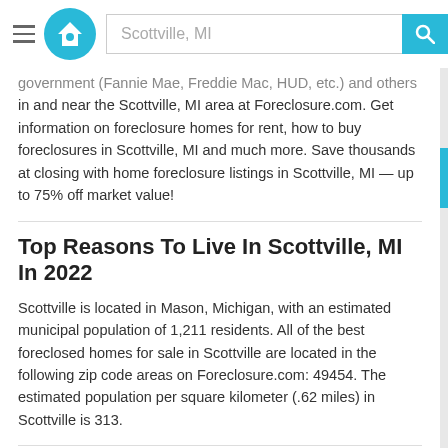Scottville, MI
government (Fannie Mae, Freddie Mac, HUD, etc.) and others in and near the Scottville, MI area at Foreclosure.com. Get information on foreclosure homes for rent, how to buy foreclosures in Scottville, MI and much more. Save thousands at closing with home foreclosure listings in Scottville, MI — up to 75% off market value!
Top Reasons To Live In Scottville, MI In 2022
Scottville is located in Mason, Michigan, with an estimated municipal population of 1,211 residents. All of the best foreclosed homes for sale in Scottville are located in the following zip code areas on Foreclosure.com: 49454. The estimated population per square kilometer (.62 miles) in Scottville is 313.
Cost Of Living In Scottville, MI
So, about how much do homes cost in Scottville? The most